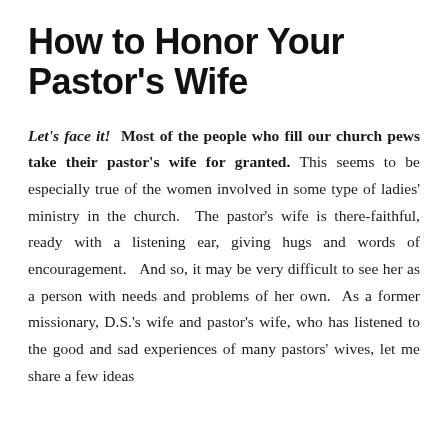How to Honor Your Pastor's Wife
Let's face it!  Most of the people who fill our church pews take their pastor's wife for granted. This seems to be especially true of the women involved in some type of ladies' ministry in the church.  The pastor's wife is there-faithful, ready with a listening ear, giving hugs and words of encouragement.   And so, it may be very difficult to see her as a person with needs and problems of her own.  As a former missionary, D.S.'s wife and pastor's wife, who has listened to the good and sad experiences of many pastors' wives, let me share a few ideas